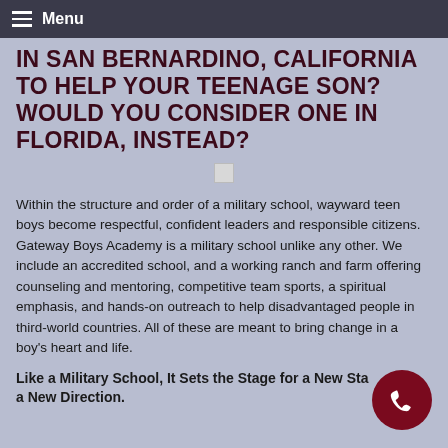Menu
IN SAN BERNARDINO, CALIFORNIA TO HELP YOUR TEENAGE SON? WOULD YOU CONSIDER ONE IN FLORIDA, INSTEAD?
Within the structure and order of a military school, wayward teen boys become respectful, confident leaders and responsible citizens. Gateway Boys Academy is a military school unlike any other. We include an accredited school, and a working ranch and farm offering counseling and mentoring, competitive team sports, a spiritual emphasis, and hands-on outreach to help disadvantaged people in third-world countries. All of these are meant to bring change in a boy's heart and life.
Like a Military School, It Sets the Stage for a New Start, a New Direction.